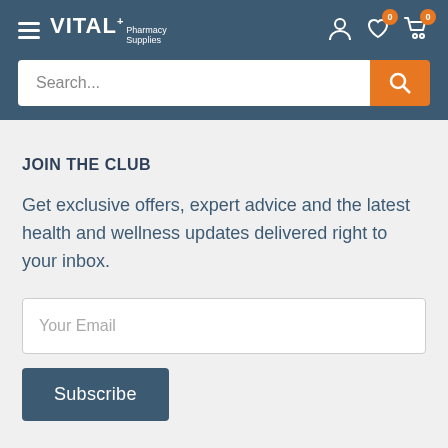VITAL+ Pharmacy Supplies — navigation header with search bar
JOIN THE CLUB
Get exclusive offers, expert advice and the latest health and wellness updates delivered right to your inbox.
Your Email
Subscribe